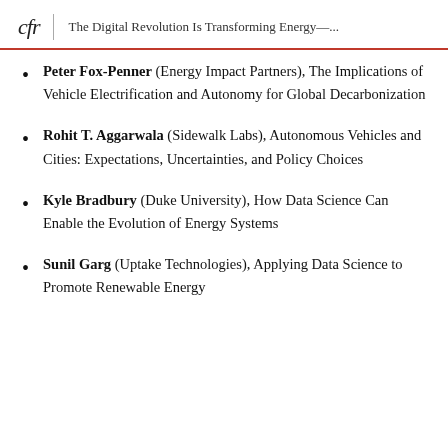cfr | The Digital Revolution Is Transforming Energy—...
Peter Fox-Penner (Energy Impact Partners), The Implications of Vehicle Electrification and Autonomy for Global Decarbonization
Rohit T. Aggarwala (Sidewalk Labs), Autonomous Vehicles and Cities: Expectations, Uncertainties, and Policy Choices
Kyle Bradbury (Duke University), How Data Science Can Enable the Evolution of Energy Systems
Sunil Garg (Uptake Technologies), Applying Data Science to Promote Renewable Energy